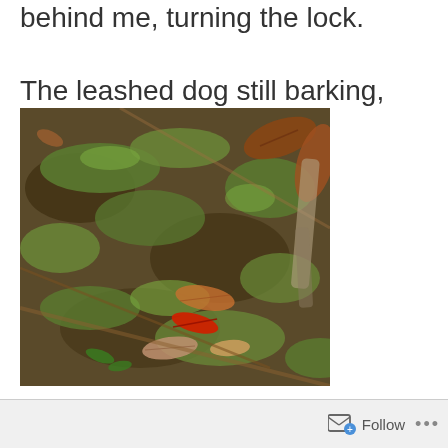behind me, turning the lock.

The leashed dog still barking, wanting to play.
[Figure (photo): Close-up photograph of a grassy ground covered with fallen autumn leaves in shades of brown, orange, and red. A small bright red leaf stands out among muted earthy tones. Twigs and dried vegetation are scattered across the mossy grass.]
Follow ...